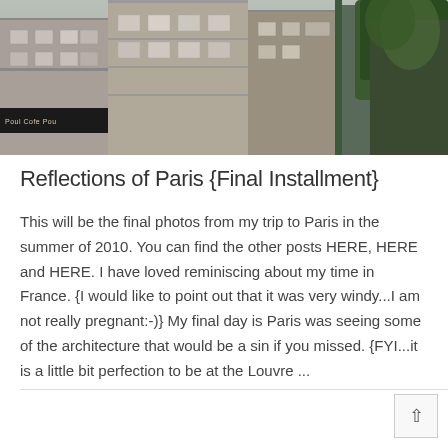[Figure (photo): Photograph of Parisian architecture — tall stone apartment buildings with balconies, a dark green pole/column, and lush green trees visible at the right edge. A shop sign is visible at street level on the left.]
Reflections of Paris {Final Installment}
This will be the final photos from my trip to Paris in the summer of 2010. You can find the other posts HERE, HERE and HERE. I have loved reminiscing about my time in France. {I would like to point out that it was very windy...I am not really pregnant:-)} My final day is Paris was seeing some of the architecture that would be a sin if you missed. {FYI...it is a little bit perfection to be at the Louvre ...